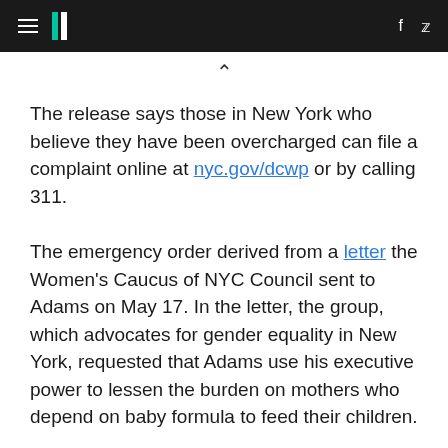HuffPost navigation with hamburger menu, logo, Facebook and Twitter icons
The release says those in New York who believe they have been overcharged can file a complaint online at nyc.gov/dcwp or by calling 311.
The emergency order derived from a letter the Women's Caucus of NYC Council sent to Adams on May 17. In the letter, the group, which advocates for gender equality in New York, requested that Adams use his executive power to lessen the burden on mothers who depend on baby formula to feed their children.